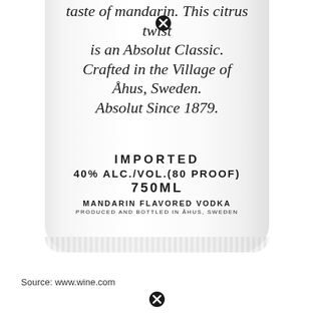[Figure (photo): Close-up of the back label of an Absolut Mandarin vodka bottle. The bottle is white/frosted with script calligraphy text reading about mandarin taste being an Absolut Classic, crafted in the village of Åhus, Sweden, Absolut Since 1879. Below the script: IMPORTED, 40% ALC./VOL.(80 PROOF), 750ML, MANDARIN FLAVORED VODKA, PRODUCED AND BOTTLED IN ÅHUS, SWEDEN.]
Source: www.wine.com